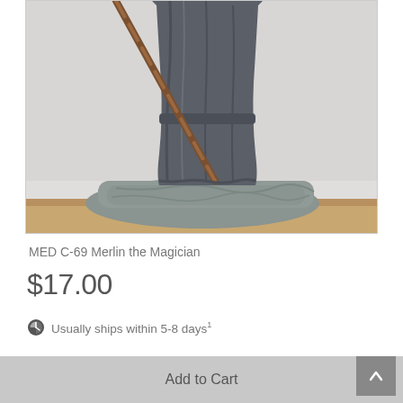[Figure (photo): A figurine of Merlin the Magician wearing a dark grey robe and holding a wooden staff, standing on a rocky base. The upper portion of the figurine is shown, cropped at the top.]
MED C-69 Merlin the Magician
$17.00
Usually ships within 5-8 days¹
Add to Cart